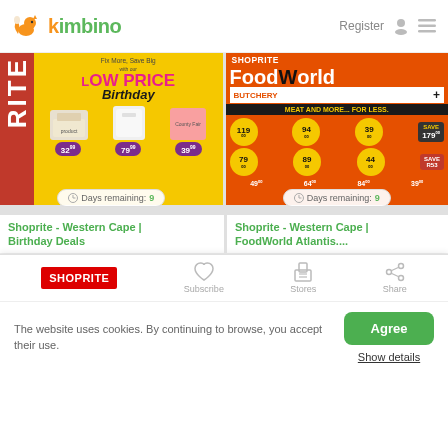kimbino
Register
[Figure (screenshot): Shoprite Birthday Deals catalog cover - yellow background with Low Price Birthday text, red strip with RITE text, product images and prices: 32.99, 79.99, 39.99. Days remaining: 9]
[Figure (screenshot): Shoprite FoodWorld Atlantis catalog cover - orange background with FoodWorld Butchery+ header, Meat and More For Less tagline, price badges: 119, 94, 39, 79, 89, 44, 179, R53 savings. Days remaining: 9]
Shoprite - Western Cape | Birthday Deals
Shoprite - Western Cape | FoodWorld Atlantis....
SHOPRITE
Subscribe
Stores
Share
The website uses cookies. By continuing to browse, you accept their use.
Agree
Show details